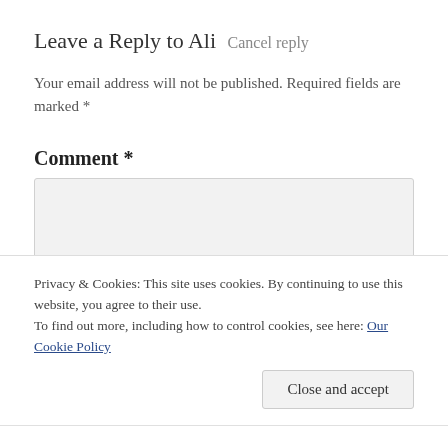Leave a Reply to Ali Cancel reply
Your email address will not be published. Required fields are marked *
Comment *
Privacy & Cookies: This site uses cookies. By continuing to use this website, you agree to their use.
To find out more, including how to control cookies, see here: Our Cookie Policy